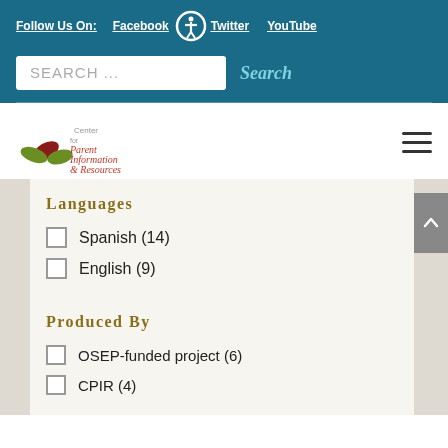Follow Us On: Facebook Twitter YouTube
SEARCH ...
[Figure (logo): Center for Parent Information & Resources logo with two hands and a flower]
Languages
Spanish (14)
English (9)
Produced By
OSEP-funded project (6)
CPIR (4)